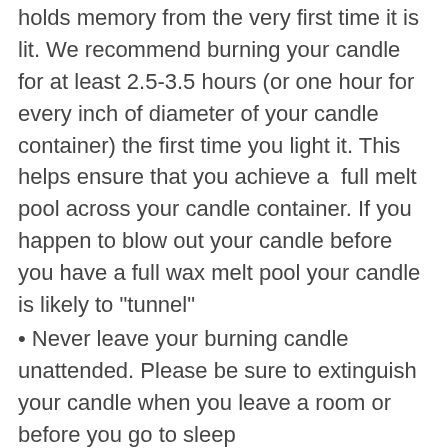holds memory from the very first time it is lit. We recommend burning your candle for at least 2.5-3.5 hours (or one hour for every inch of diameter of your candle container) the first time you light it. This helps ensure that you achieve a full melt pool across your candle container. If you happen to blow out your candle before you have a full wax melt pool your candle is likely to "tunnel"
Never leave your burning candle unattended. Please be sure to extinguish your candle when you leave a room or before you go to sleep
Follow the two foot rule- be sure to not place your burning candle near curtains, books, clothing or anything flammable. Be sure to keep lit candles away from drafts, ceiling fans + any air currents
Keep your candle out of reach of pets + little ones
Place burning candles at least three inches apart from one another